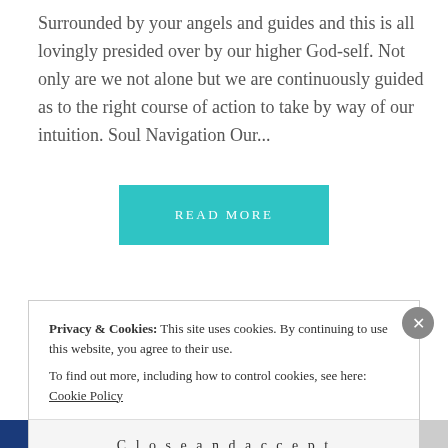Surrounded by your angels and guides and this is all lovingly presided over by our higher God-self. Not only are we not alone but we are continuously guided as to the right course of action to take by way of our intuition. Soul Navigation Our...
[Figure (other): READ MORE button — teal/turquoise rectangle with white uppercase spaced text]
Decorative script title text (stylized font)
Privacy & Cookies: This site uses cookies. By continuing to use this website, you agree to their use. To find out more, including how to control cookies, see here: Cookie Policy
Close and accept